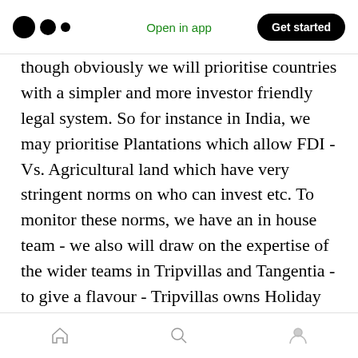Open in app | Get started
though obviously we will prioritise countries with a simpler and more investor friendly legal system. So for instance in India, we may prioritise Plantations which allow FDI - Vs. Agricultural land which have very stringent norms on who can invest etc. To monitor these norms, we have an in house team - we also will draw on the expertise of the wider teams in Tripvillas and Tangentia - to give a flavour - Tripvillas owns Holiday Home Times - www.holidayhometimes.com - which has nearly a decade of research and data on the laws and
Home | Search | Profile